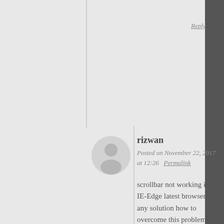Reply
rizwan
Posted on November 22, 2017 at 12:26  Permalink
scrollbar not working in IE-Edge latest browser any solution how to overcome this problem??
Reply
lmb
Posted on December 20, 2017 at
Same problem here on edge,